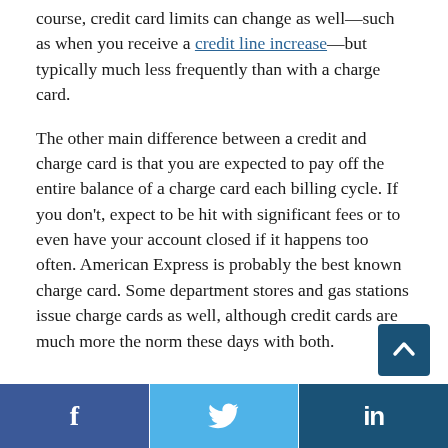course, credit card limits can change as well—such as when you receive a credit line increase—but typically much less frequently than with a charge card.
The other main difference between a credit and charge card is that you are expected to pay off the entire balance of a charge card each billing cycle. If you don't, expect to be hit with significant fees or to even have your account closed if it happens too often. American Express is probably the best known charge card. Some department stores and gas stations issue charge cards as well, although credit cards are much more the norm these days with both.
[Figure (other): Scroll to top button — dark blue square with upward chevron arrow]
Social share buttons: Facebook, Twitter, LinkedIn